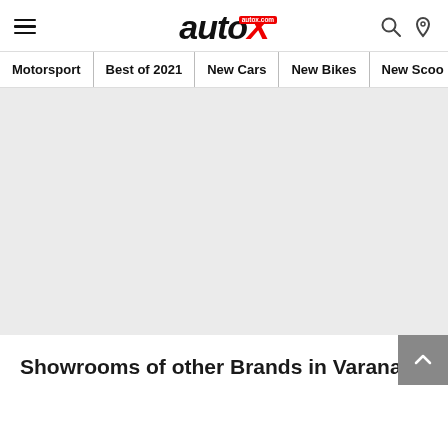autoX navigation header with hamburger menu, autoX logo, search and location icons
Motorsport | Best of 2021 | New Cars | New Bikes | New Scoo
[Figure (other): Gray placeholder/advertisement area]
Showrooms of other Brands in Varanasi